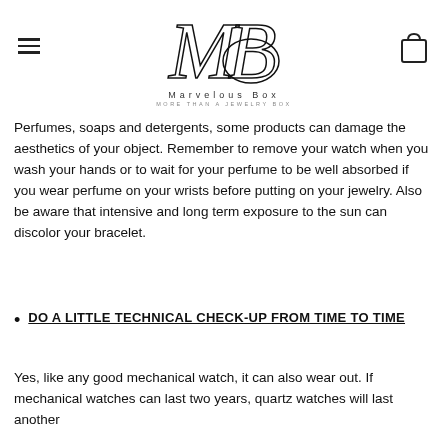[Figure (logo): Marvelous Box logo with stylized MB monogram script letters, brand name 'Marvelous Box' and tagline 'MORE THAN A JEWELRY BOX'. Hamburger menu icon on left, shopping bag icon on right.]
Perfumes, soaps and detergents, some products can damage the aesthetics of your object. Remember to remove your watch when you wash your hands or to wait for your perfume to be well absorbed if you wear perfume on your wrists before putting on your jewelry. Also be aware that intensive and long term exposure to the sun can discolor your bracelet.
DO A LITTLE TECHNICAL CHECK-UP FROM TIME TO TIME
Yes, like any good mechanical watch, it can also wear out. If mechanical watches can last two years, quartz watches will last another